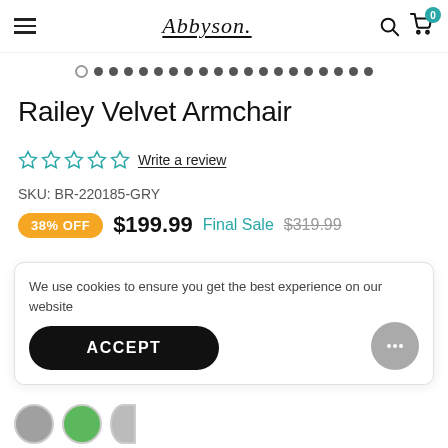Abbyson
[Figure (screenshot): Carousel dot indicators showing one empty circle and multiple filled circles]
Railey Velvet Armchair
Write a review (5 star rating, 0 stars filled)
SKU: BR-220185-GRY
38% OFF  $199.99 Final Sale  $319.99
We use cookies to ensure you get the best experience on our website
ACCEPT